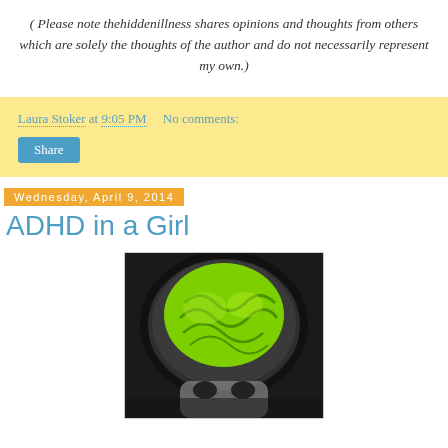( Please note thehiddenillness shares opinions and thoughts from others which are solely the thoughts of the author and do not necessarily represent my own.)
Laura Stoker at 9:05 PM   No comments:
Share
Wednesday, April 9, 2014
ADHD in a Girl
[Figure (photo): A colorized brain scan image showing a brain with bright green/yellow coloring against a dark background, with a face partially visible at the bottom.]